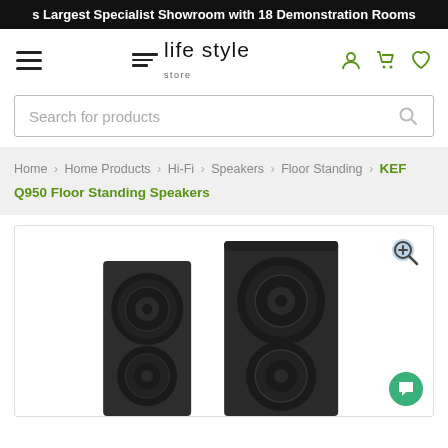s Largest Specialist Showroom with 18 Demonstration Rooms
[Figure (logo): Life Style Store logo with hamburger menu and nav icons (user, cart, heart)]
Search for products
Home > Home Products > Hi-Fi > Speakers > Floor Standing > KEF Q950 Floor Standing Speakers
[Figure (photo): Two KEF Q950 Floor Standing Speakers in black/dark grey finish, front view showing drivers]